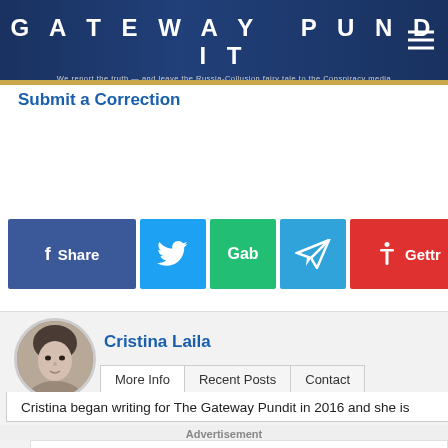GATEWAY PUNDIT — We report the truth — and leave the Russia-Collusion fairy tale to the Conspiracy media
Submit a Correction
[Figure (infographic): Social share buttons row: Facebook Share, Twitter, Gab, Telegram, Gettr, Email, Share]
Cristina Laila
Cristina began writing for The Gateway Pundit in 2016 and she is
Advertisement
Meet Marvel's First Muslim Superhero, Iman Vellani
Brainberries